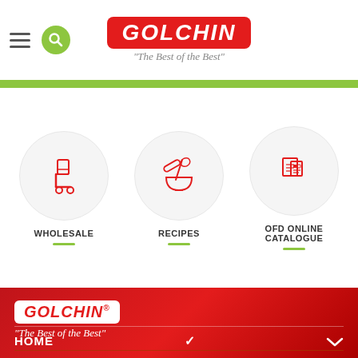[Figure (screenshot): Golchin website header with hamburger menu, search icon, Golchin logo with tagline 'The Best of the Best']
[Figure (infographic): Three circular icon buttons: WHOLESALE (hand truck icon), RECIPES (bowl and whisk icon), OFD ONLINE CATALOGUE (catalogue icon), each with a green underline]
[Figure (logo): Golchin logo on red footer background with tagline 'The Best of the Best']
HOME
[Figure (other): Footer navigation separator line]